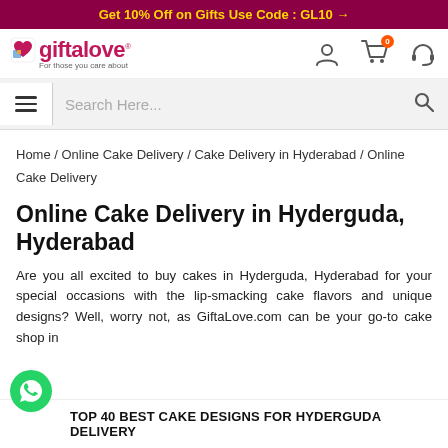Get 10% Off on Gifts Use Code : GL10 →
[Figure (logo): GiftaLove logo with heart icon and tagline 'For those you care about']
Search Here...
Home / Online Cake Delivery / Cake Delivery in Hyderabad / Online Cake Delivery
Online Cake Delivery in Hyderguda, Hyderabad
Are you all excited to buy cakes in Hyderguda, Hyderabad for your special occasions with the lip-smacking cake flavors and unique designs? Well, worry not, as GiftaLove.com can be your go-to cake shop in
TOP 40 BEST CAKE DESIGNS FOR HYDERGUDA DELIVERY